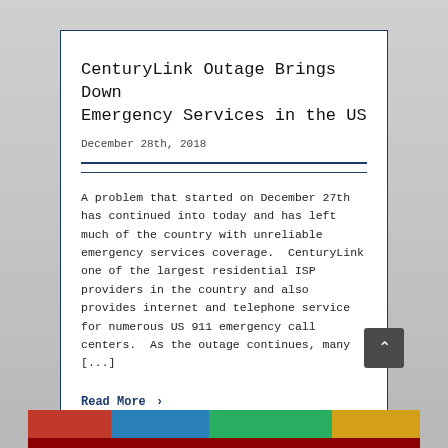CenturyLink Outage Brings Down Emergency Services in the US
December 28th, 2018
A problem that started on December 27th has continued into today and has left much of the country with unreliable emergency services coverage.  CenturyLink one of the largest residential ISP providers in the country and also provides internet and telephone service for numerous US 911 emergency call centers.  As the outage continues, many [...]
Read More >